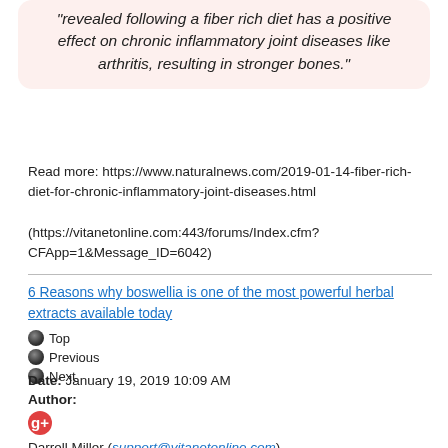"revealed following a fiber rich diet has a positive effect on chronic inflammatory joint diseases like arthritis, resulting in stronger bones."
Read more: https://www.naturalnews.com/2019-01-14-fiber-rich-diet-for-chronic-inflammatory-joint-diseases.html
(https://vitanetonline.com:443/forums/Index.cfm?CFApp=1&Message_ID=6042)
6 Reasons why boswellia is one of the most powerful herbal extracts available today
Top
Previous
Next
Date: January 19, 2019 10:09 AM
Author:
Darrell Miller (support@vitanetonline.com)
Subject: 6 Reasons why boswellia is one of the most powerful herbal extracts available today